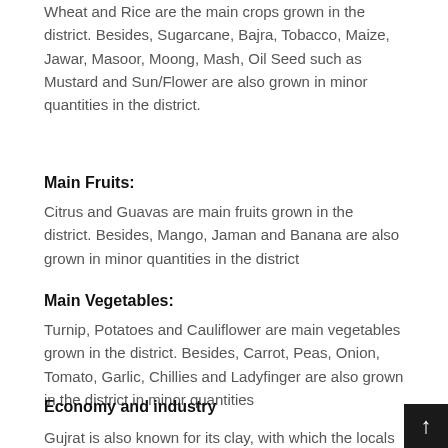Wheat and Rice are the main crops grown in the district. Besides, Sugarcane, Bajra, Tobacco, Maize, Jawar, Masoor, Moong, Mash, Oil Seed such as Mustard and Sun/Flower are also grown in minor quantities in the district.
Main Fruits:
Citrus and Guavas are main fruits grown in the district. Besides, Mango, Jaman and Banana are also grown in minor quantities in the district
Main Vegetables:
Turnip, Potatoes and Cauliflower are main vegetables grown in the district. Besides, Carrot, Peas, Onion, Tomato, Garlic, Chillies and Ladyfinger are also grown in the district in minor quantities
Economy and industry
Gujrat is also known for its clay, with which the locals have long produced quality pottery. The city also